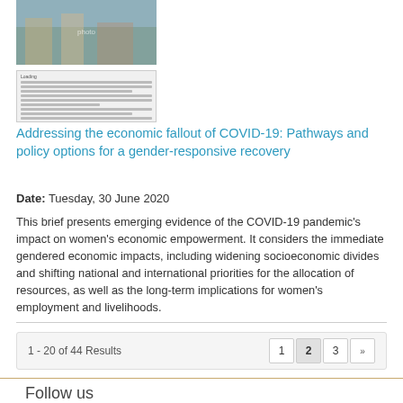[Figure (photo): Thumbnail photo showing people in a market or outdoor setting]
[Figure (screenshot): Thumbnail of document page with text lines]
Addressing the economic fallout of COVID-19: Pathways and policy options for a gender-responsive recovery
Date: Tuesday, 30 June 2020
This brief presents emerging evidence of the COVID-19 pandemic's impact on women's economic empowerment. It considers the immediate gendered economic impacts, including widening socioeconomic divides and shifting national and international priorities for the allocation of resources, as well as the long-term implications for women's employment and livelihoods.
1 - 20 of 44 Results
Follow us